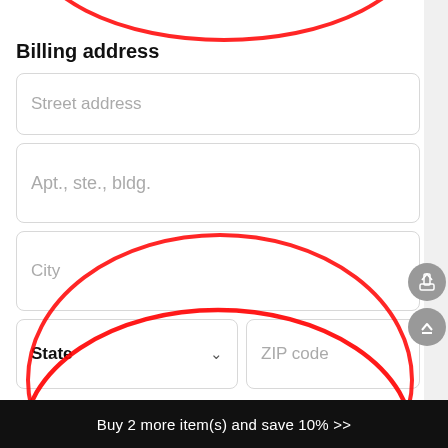[Figure (screenshot): Mobile app billing address form with fields for Street address, Apt/ste/bldg, City, State dropdown, and ZIP code. A red oval annotation highlights the Apt/ste/bldg, City, and partially State fields. Two gray circular buttons on the right side (share and scroll-to-top). Blue checkbox labeled 'Ship to my billing address'.]
Billing address
Street address
Apt., ste., bldg.
City
State
ZIP code
Ship to my billing address
Buy 2 more item(s) and save 10%  >>